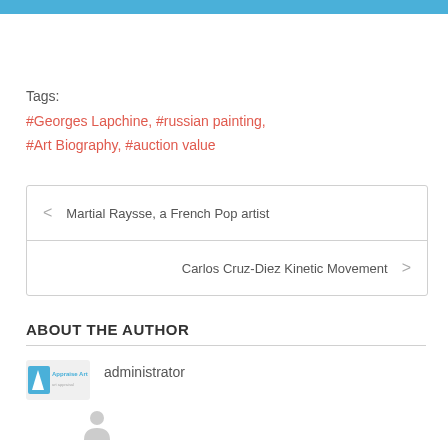Tags:
#Georges Lapchine, #russian painting, #Art Biography, #auction value
< Martial Raysse, a French Pop artist
Carlos Cruz-Diez Kinetic Movement >
ABOUT THE AUTHOR
administrator